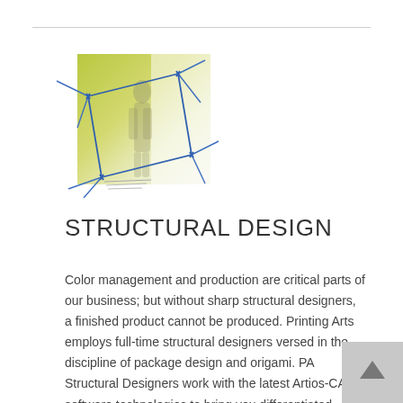[Figure (illustration): Abstract engineering/structural design illustration showing a 3D box/package outline drawn with blue construction lines over a greenish-yellow background, with a faint human figure silhouette inside.]
STRUCTURAL DESIGN
Color management and production are critical parts of our business; but without sharp structural designers, a finished product cannot be produced. Printing Arts employs full-time structural designers versed in the discipline of package design and origami. PA Structural Designers work with the latest Artios-CAD software technologies to bring you differentiated structures that will stand out and help define your